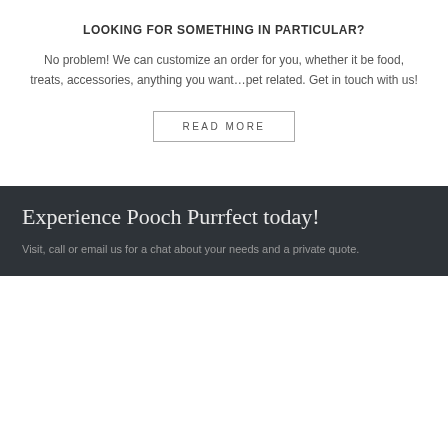LOOKING FOR SOMETHING IN PARTICULAR?
No problem! We can customize an order for you, whether it be food, treats, accessories, anything you want…pet related. Get in touch with us!
READ MORE
Experience Pooch Purrfect today!
Visit, call or email us for a chat about your needs and a private quote.